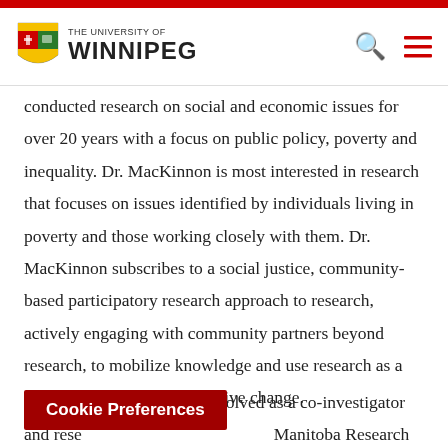[Figure (logo): University of Winnipeg logo with shield crest and text 'THE UNIVERSITY OF WINNIPEG']
conducted research on social and economic issues for over 20 years with a focus on public policy, poverty and inequality. Dr. MacKinnon is most interested in research that focuses on issues identified by individuals living in poverty and those working closely with them. Dr. MacKinnon subscribes to a social justice, community-based participatory research approach to research, actively engaging with community partners beyond research, to mobilize knowledge and use research as a tool to advocate for progressive change.
Dr. MacKinnon has been involved as a co-investigator and rese... Manitoba Research Alliance
Cookie Preferences